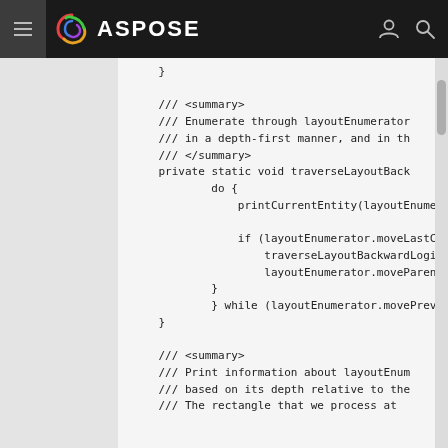ASPOSE
[Figure (screenshot): Code block showing Java/C# code with XML doc comments and traverseLayoutBack method with do-while loop, and start of printCurrentEntity method with summary comments]
}

/// <summary>
/// Enumerate through layoutEnumerator
/// in a depth-first manner, and in th
/// </summary>
private static void traverseLayoutBack
        do {
            printCurrentEntity(layoutEnume

            if (layoutEnumerator.moveLastC
                traverseLayoutBackwardLogi
                layoutEnumerator.moveParent
        }
        } while (layoutEnumerator.movePrev
    }

/// <summary>
/// Print information about layoutEnum
/// based on its depth relative to the
/// /// The rectangle that we process at